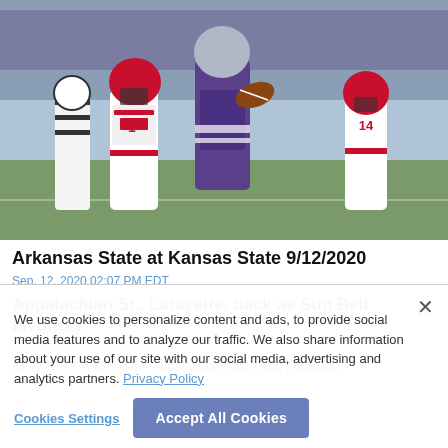[Figure (photo): Football game photo: Kansas State player in purple uniform catching/carrying ball, Arkansas State defenders in white/red uniforms pursuing, including player #1 and player #14, with referee visible in background]
Arkansas State at Kansas State 9/12/2020
Sep. 12, 2020 02:07 PM EDT
Appalachian St., Lafayette, back as Sun Belt favorites
Sep. 02, 2020 10:57 AM EDT
NEW ORLEANS (AP) – Appalachian State and Louisiana-
We use cookies to personalize content and ads, to provide social media features and to analyze our traffic. We also share information about your use of our site with our social media, advertising and analytics partners. Privacy Policy